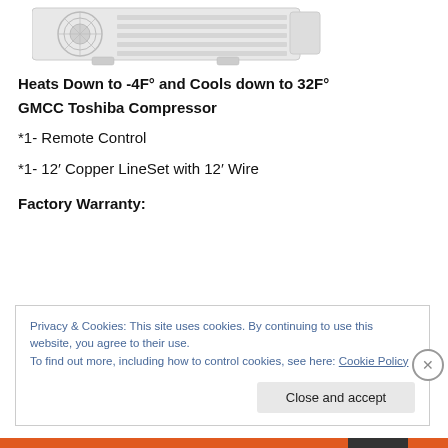[Figure (photo): Partial view of an outdoor HVAC/mini-split unit (fan side, white), cropped at top]
Heats Down to -4F° and Cools down to 32F°
GMCC Toshiba Compressor
*1- Remote Control
*1- 12′ Copper LineSet with 12′ Wire
Factory Warranty:
Privacy & Cookies: This site uses cookies. By continuing to use this website, you agree to their use.
To find out more, including how to control cookies, see here: Cookie Policy